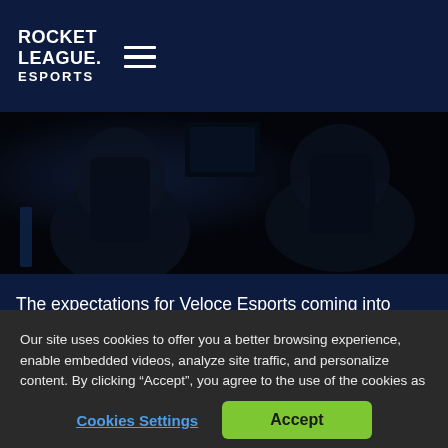ROCKET LEAGUE ESPORTS
[Figure (photo): Dark photo of esports gaming setup, showing gaming chairs and monitors in a dimly lit arena environment]
The expectations for Veloce Esports coming into Season 8 were low across the board. Analysts had them pegged for last, and by extension, headed for the Promotion Tournament. There were also
Our site uses cookies to offer you a better browsing experience, enable embedded videos, analyze site traffic, and personalize content. By clicking “Accept”, you agree to the use of the cookies as they are currently set and are okay to continue. Privacy Policy
Cookies Settings | Accept